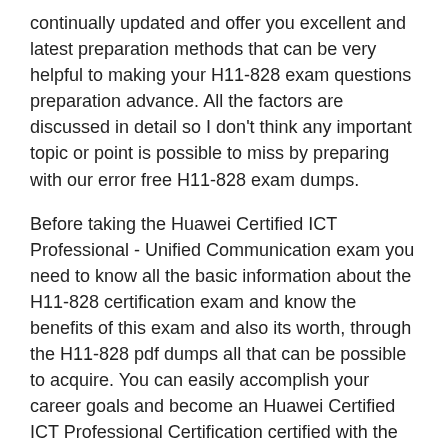continually updated and offer you excellent and latest preparation methods that can be very helpful to making your H11-828 exam questions preparation advance. All the factors are discussed in detail so I don't think any important topic or point is possible to miss by preparing with our error free H11-828 exam dumps.
Before taking the Huawei Certified ICT Professional - Unified Communication exam you need to know all the basic information about the H11-828 certification exam and know the benefits of this exam and also its worth, through the H11-828 pdf dumps all that can be possible to acquire. You can easily accomplish your career goals and become an Huawei Certified ICT Professional Certification certified with the helpful material of the H11-828 exam questions and take extra practice through the excellent online H11-828 web-based testing engine.